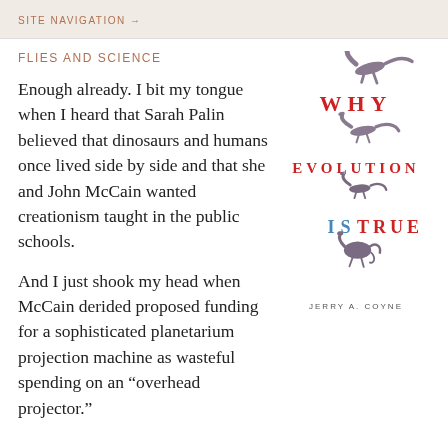SITE NAVIGATION →
FLIES AND SCIENCE
[Figure (illustration): Book cover of 'Why Evolution Is True' by Jerry A. Coyne, featuring silhouettes of dinosaur/bird-like creatures in grey-purple tones, with 'WHY' in red, 'EVOLUTION' in red, 'IS' in blue, 'TRUE' in blue lettering, author name JERRY A. COYNE at bottom.]
Enough already. I bit my tongue when I heard that Sarah Palin believed that dinosaurs and humans once lived side by side and that she and John McCain wanted creationism taught in the public schools.
And I just shook my head when McCain derided proposed funding for a sophisticated planetarium projection machine as wasteful spending on an “overhead projector.”